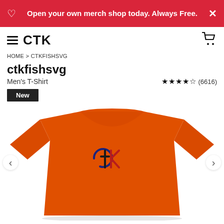Open your own merch shop today. Always Free.
CTK
HOME > CTKFISHSVG
ctkfishsvg
Men's T-Shirt
★★★★½ (6616)
New
[Figure (photo): Orange men's t-shirt with CTK fish logo on chest, shown from front on white background]